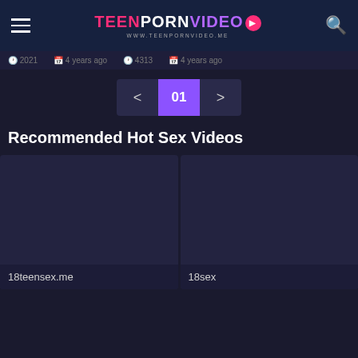TEENPORNVIDEO WWW.TEENPORNVIDEO.ME
2021   4 years ago   4313   4 years ago
< 01 >
Recommended Hot Sex Videos
18teensex.me
18sex